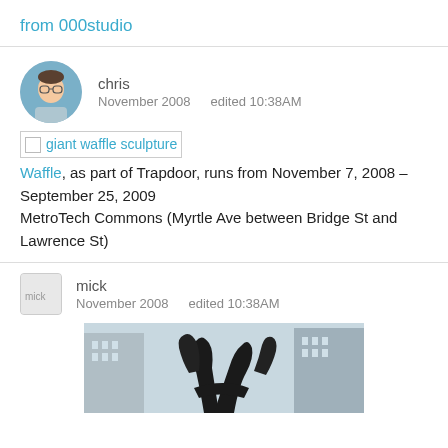from 000studio
chris
November 2008   edited 10:38AM
[giant waffle sculpture]
Waffle, as part of Trapdoor, runs from November 7, 2008 – September 25, 2009
MetroTech Commons (Myrtle Ave between Bridge St and Lawrence St)
mick
November 2008   edited 10:38AM
[Figure (photo): Outdoor sculpture at MetroTech Commons — dark metal abstract figure against city buildings]